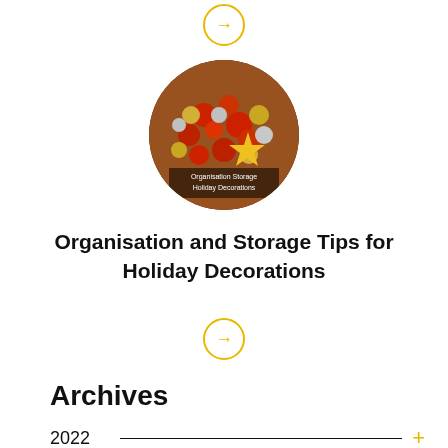[Figure (other): Yellow circle with right arrow, top navigation button]
[Figure (photo): Circular cropped photo of Christmas ornaments (red, gold, silver balls) with a gold star, with text overlay reading 'Organisation and Storage Holiday Decorations']
Organisation and Storage Tips for Holiday Decorations
[Figure (other): Yellow circle with right arrow, bottom navigation button]
Archives
2022
2021